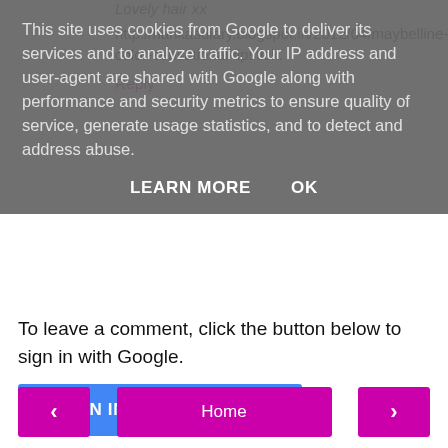This site uses cookies from Google to deliver its services and to analyze traffic. Your IP address and user-agent are shared with Google along with performance and security metrics to ensure quality of service, generate usage statistics, and to detect and address abuse.
LEARN MORE    OK
Lovely hair xx
http://harikasdiary.blogspot.in/2012/04/maybelline-color-sensational-lipstick.
Reply
To leave a comment, click the button below to sign in with Google.
SIGN IN WITH GOOGLE
‹
Home
›